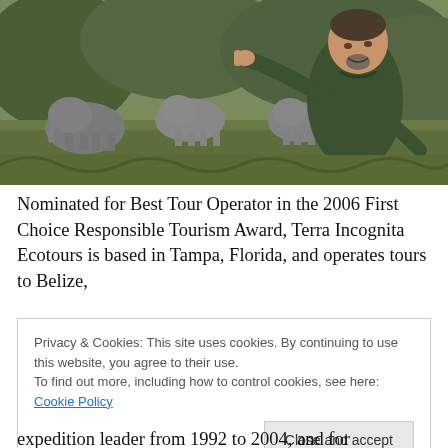[Figure (photo): A smiling man in a dark green shirt pointing towards a group of elephants in the background, standing in a grassy outdoor area.]
Nominated for Best Tour Operator in the 2006 First Choice Responsible Tourism Award, Terra Incognita Ecotours is based in Tampa, Florida, and operates tours to Belize,
Privacy & Cookies: This site uses cookies. By continuing to use this website, you agree to their use.
To find out more, including how to control cookies, see here: Cookie Policy
Close and accept
expedition leader from 1992 to 2004, and for International